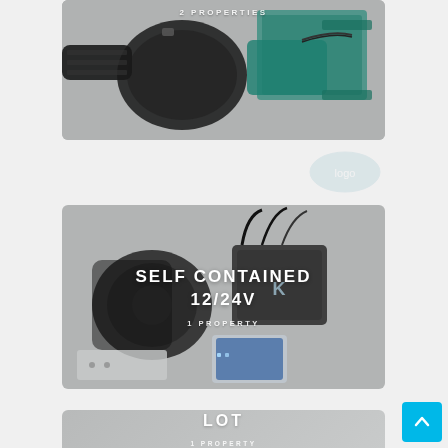[Figure (photo): Partial view of a marine/industrial pump (black and teal) with threaded fitting, mounted on bracket, gray background. Text overlay: '2 PROPERTIES']
[Figure (photo): Self-contained 12/24V marine HVAC unit with blower, control box with 'K' logo, and touchpad controller, gray background. Text overlay: 'SELF CONTAINED 12/24V' and '1 PROPERTY']
[Figure (photo): Gray placeholder card with text 'LOT' and '1 PROPERTY', partially visible at bottom of page]